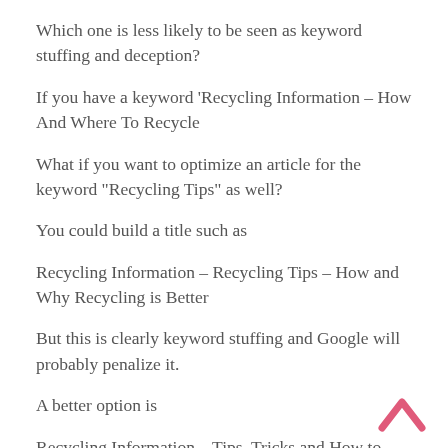Which one is less likely to be seen as keyword stuffing and deception?
If you have a keyword ‘Recycling Information – How And Where To Recycle
What if you want to optimize an article for the keyword “Recycling Tips” as well?
You could build a title such as
Recycling Information – Recycling Tips – How and Why Recycling is Better
But this is clearly keyword stuffing and Google will probably penalize it.
A better option is
Recycling Information – Tips, Tricks and How to
[Figure (other): Pink upward-pointing chevron/arrow icon in bottom-right corner]